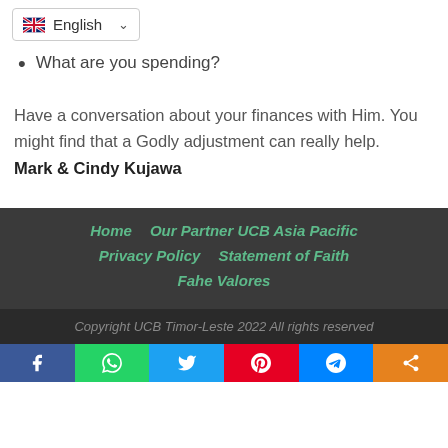English
What are you spending?
Have a conversation about your finances with Him. You might find that a Godly adjustment can really help.
Mark & Cindy Kujawa
Home   Our Partner UCB Asia Pacific   Privacy Policy   Statement of Faith   Fahe Valores
Copyright UCB Timor-Leste 2022 All rights reserved